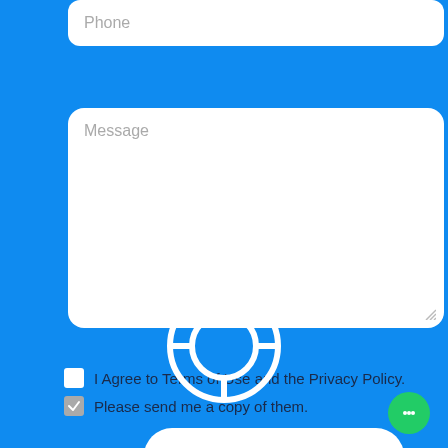Phone
Message
I Agree to Terms of Use and the Privacy Policy.
Please send me a copy of them.
Contact Us
[Figure (illustration): Lifesaver / help ring icon in white outline on blue background]
[Figure (illustration): Green chat bubble icon in bottom right corner]